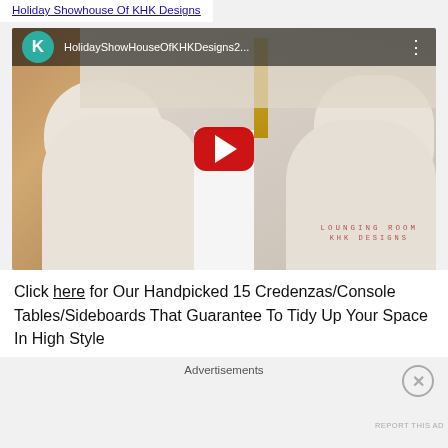Holiday Showhouse Of KHK Designs
[Figure (screenshot): YouTube video thumbnail showing two white boucle armchairs in a lounging room, with a center table and lamp. Video title: HolidayShowHouseOfKHKDesigns2... Channel avatar letter K on teal circle. Red YouTube play button centered. Bottom right watermark: LOUNGING ROOM / KHK DESIGNS]
Click here for Our Handpicked 15 Credenzas/Console Tables/Sideboards That Guarantee To Tidy Up Your Space In High Style
Advertisements